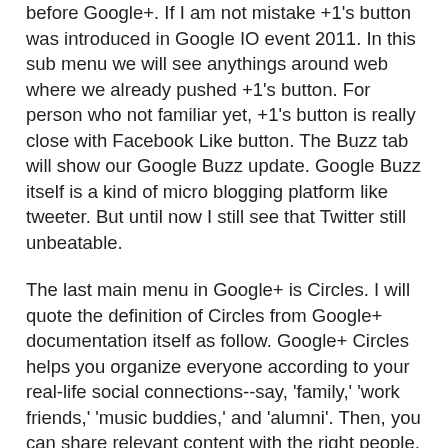before Google+. If I am not mistake +1's button was introduced in Google IO event 2011. In this sub menu we will see anythings around web where we already pushed +1's button. For person who not familiar yet, +1's button is really close with Facebook Like button. The Buzz tab will show our Google Buzz update. Google Buzz itself is a kind of micro blogging platform like tweeter. But until now I still see that Twitter still unbeatable.
The last main menu in Google+ is Circles. I will quote the definition of Circles from Google+ documentation itself as follow. Google+ Circles helps you organize everyone according to your real-life social connections--say, 'family,' 'work friends,' 'music buddies,' and 'alumni'. Then, you can share relevant content with the right people, and follow content posted by people you find interesting. For example, you might post an announcement about your engagement and show it only to people in your friends and family circles, or maybe you see a post from the circle you created for your book club that there's a recent article on your favorite author. At first sight it seems similar with friends grouping mechanism in Facebook. But after I do several trial it is little